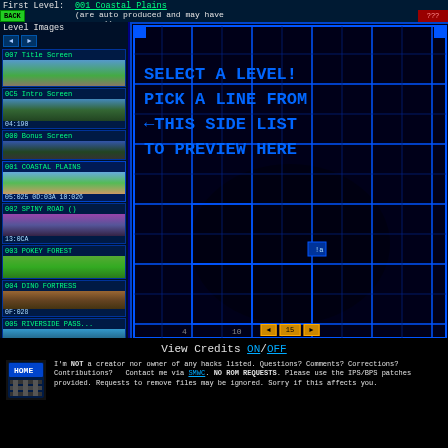First Level: 001 Coastal Plains (are auto produced and may have errors!)
Level Images
[Figure (screenshot): Game level selector interface with left panel showing level thumbnails (007 Title Screen, 0C5 Intro Screen, 000 Bonus Screen, 001 COASTAL PLAINS, 002 SPINY ROAD (), 003 POKEY FOREST, 004 DINO FORTRESS) and right panel showing map preview with blue grid lines and text SELECT A LEVEL! PICK A LINE FROM ← THIS SIDE LIST TO PREVIEW HERE]
View Credits ON/OFF
I'm NOT a creator nor owner of any hacks listed. Questions? Comments? Corrections? Contributions? Contact me via SMWC. NO ROM REQUESTS. Please use the IPS/BPS patches provided. Requests to remove files may be ignored. Sorry if this affects you.